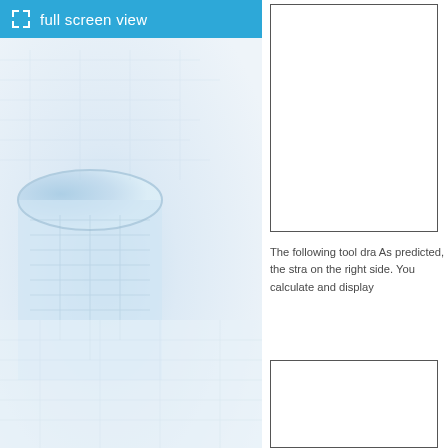[Figure (screenshot): Blue toolbar with fullscreen icon and 'full screen view' label over a blueprint/rolled technical drawing photo with light blue tones]
[Figure (other): Empty white box with border (top right area, representing a tool or diagram placeholder)]
The following tool dra As predicted, the stra on the right side. You calculate and display
[Figure (other): Empty white box with border (bottom right area, representing a second tool or diagram placeholder)]